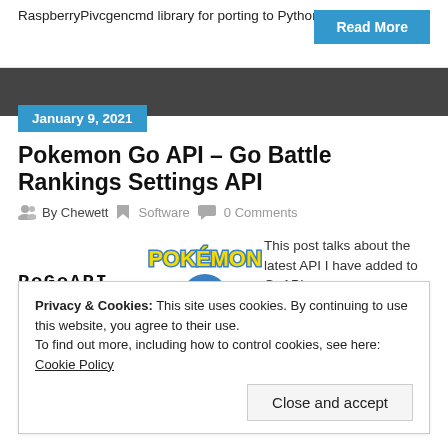RaspberryPivcgencmd library for porting to Python 3.
Read More
January 9, 2021
Pokemon Go API – Go Battle Rankings Settings API
By Chewett   Software   0 Comments
[Figure (logo): PoGoAPI text logo and Pokemon GO branded logo]
This post talks about the latest API I have added to GoAPI...
Privacy & Cookies: This site uses cookies. By continuing to use this website, you agree to their use.
To find out more, including how to control cookies, see here: Cookie Policy
Close and accept